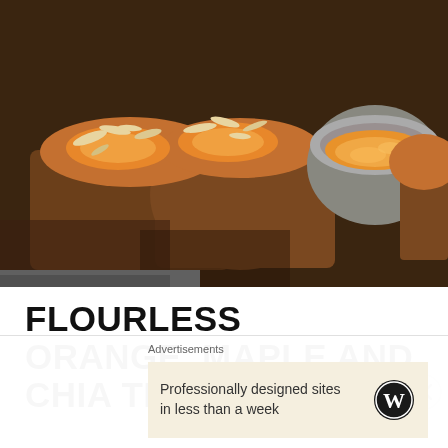[Figure (photo): Close-up photo of flourless orange maple chia tea cakes topped with sliced almonds and apricot jam, with a small metal bowl of orange preserve/jam in the background]
FLOURLESS ORANGE, MAPLE AND CHIA TEA CAKES
3 Comments
Using natural sugars from maple and coconut, coupled with seasonal fruits (granny smith apples
Advertisements
Professionally designed sites in less than a week